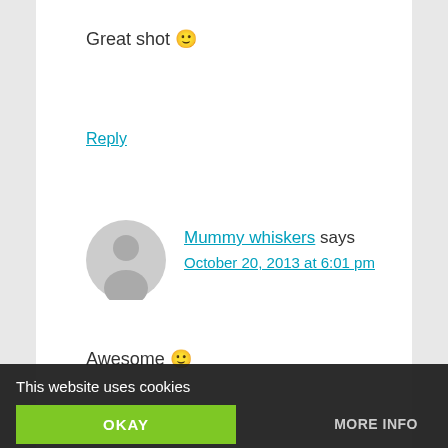Great shot 🙂
Reply
[Figure (illustration): Gray default avatar icon (circle with person silhouette)]
Mummy whiskers says
October 20, 2013 at 6:01 pm
Awesome 🙂
Reply
[Figure (photo): Partial photo of Kriss MacDonald avatar]
Kriss MacDonald says
October 20, 2013 at 7:37 pm
se too then... ...ng I have
This website uses cookies
OKAY
MORE INFO